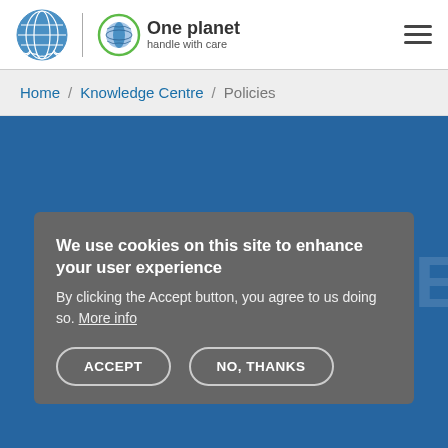[Figure (logo): UN logo (blue globe with olive branches) and One planet handle with care logo with globe icon, separated by vertical divider]
Home / Knowledge Centre / Policies
POLICIES
We use cookies on this site to enhance your user experience
By clicking the Accept button, you agree to us doing so. More info
ACCEPT   NO, THANKS